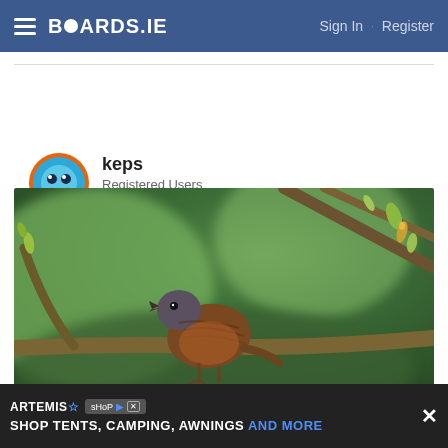BOARDS.IE  Sign In · Register
keps
Registered Users
Posts: 9,292 ★★★
15-04-2021 8:09pm
[Figure (photo): A small brown bird (dunnock/hedge sparrow) perched on a bare branch with green buds, singing, against a blurred green background.]
ARTEMIS  SHOP TENTS, CAMPING, AWNINGS AND MORE